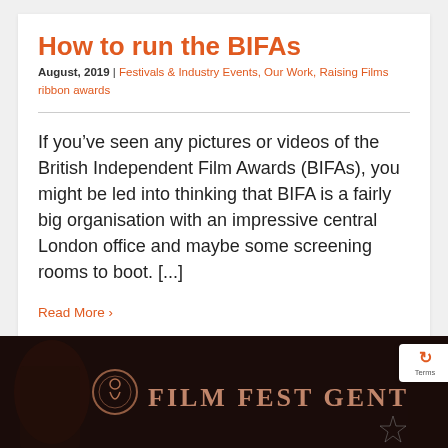How to run the BIFAs
August, 2019 | Festivals & Industry Events, Our Work, Raising Films ribbon awards
If you've seen any pictures or videos of the British Independent Film Awards (BIFAs), you might be led into thinking that BIFA is a fairly big organisation with an impressive central London office and maybe some screening rooms to boot. [...]
Read More >
[Figure (photo): Dark background image showing Film Fest Gent text with logo and star graphic]